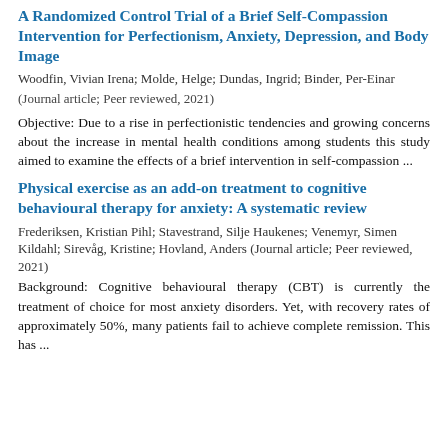A Randomized Control Trial of a Brief Self-Compassion Intervention for Perfectionism, Anxiety, Depression, and Body Image
Woodfin, Vivian Irena; Molde, Helge; Dundas, Ingrid; Binder, Per-Einar
(Journal article; Peer reviewed, 2021)
Objective: Due to a rise in perfectionistic tendencies and growing concerns about the increase in mental health conditions among students this study aimed to examine the effects of a brief intervention in self-compassion ...
Physical exercise as an add-on treatment to cognitive behavioural therapy for anxiety: A systematic review
Frederiksen, Kristian Pihl; Stavestrand, Silje Haukenes; Venemyr, Simen Kildahl; Sirevåg, Kristine; Hovland, Anders (Journal article; Peer reviewed, 2021)
Background: Cognitive behavioural therapy (CBT) is currently the treatment of choice for most anxiety disorders. Yet, with recovery rates of approximately 50%, many patients fail to achieve complete remission. This has ...